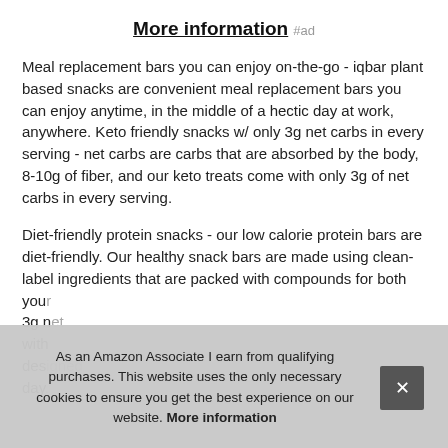More information #ad
Meal replacement bars you can enjoy on-the-go - iqbar plant based snacks are convenient meal replacement bars you can enjoy anytime, in the middle of a hectic day at work, anywhere. Keto friendly snacks w/ only 3g net carbs in every serving - net carbs are carbs that are absorbed by the body, 8-10g of fiber, and our keto treats come with only 3g of net carbs in every serving.
Diet-friendly protein snacks - our low calorie protein bars are diet-friendly. Our healthy snack bars are made using clean-label ingredients that are packed with compounds for both your... 3g n... with... des... day.
As an Amazon Associate I earn from qualifying purchases. This website uses the only necessary cookies to ensure you get the best experience on our website. More information